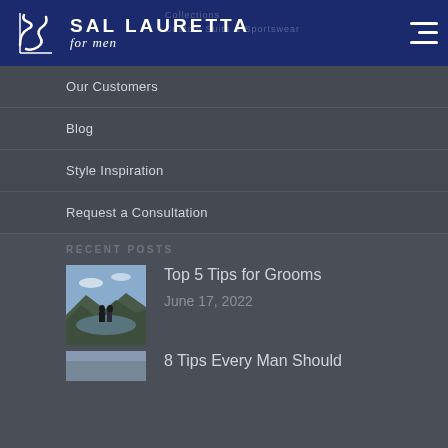SAL LAURETTA for men
Our Customers
Blog
Style Inspiration
Request a Consultation
RECENT POSTS
Top 5 Tips for Grooms
June 17, 2022
8 Tips Every Man Should